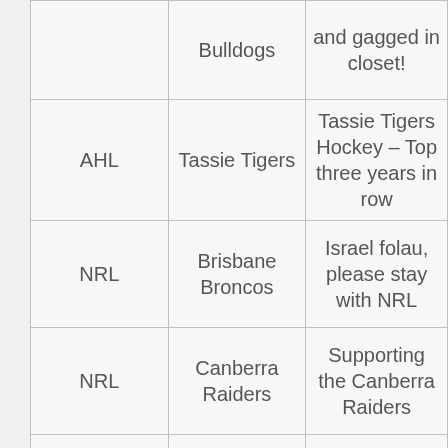| League | Team | Comment |
| --- | --- | --- |
|  | Bulldogs | and gagged in closet! |
| AHL | Tassie Tigers | Tassie Tigers Hockey – Top three years in row |
| NRL | Brisbane Broncos | Israel folau, please stay with NRL |
| NRL | Canberra Raiders | Supporting the Canberra Raiders |
| NRL | Canberra Raiders | Canberra Raiders |
| World Cup Soccer | Socceroos | Support for the Socceroos in South Africa |
| AFL | Western Bulldogs | jason akerman is amazing! |